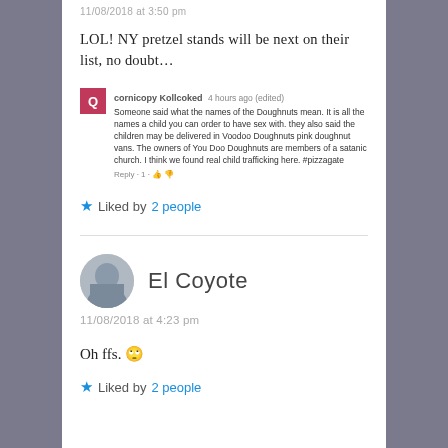11/08/2018 at 3:50 pm
LOL! NY pretzel stands will be next on their list, no doubt…
Someone said what the names of the Doughnuts mean. It is all the names a child you can order to have sex with. they also said the children may be delivered in Voodoo Doughnuts pink doughnut vans. The owners of You Doo Doughnuts are members of a satanic church. I think we found real child trafficking here. #pizzagate
Liked by 2 people
El Coyote
11/08/2018 at 4:23 pm
Oh ffs. 🙄
Liked by 2 people